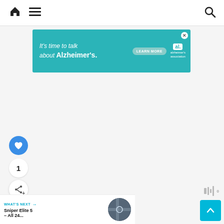Navigation bar with home icon, menu icon, and search icon
[Figure (other): Advertisement banner: It's time to talk about Alzheimer's. LEARN MORE. alzheimer's association.]
[Figure (infographic): Like button (blue circle with heart), count 1, share button (white circle with share icon)]
1
WHAT'S NEXT → Sniper Elite 5 – All 24...
[Figure (photo): Thumbnail image for Sniper Elite 5 article]
[Figure (other): Scroll to top button (cyan/blue arrow up) and sound icon]